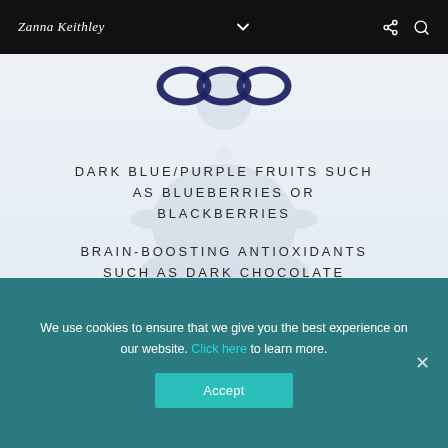Zanna Keithley
[Figure (illustration): Website screenshot showing a blog post page with navigation bar (Zanna Keithley logo, dropdown chevron, share and search icons), a decorative dark blue/navy infinity loop or chain link illustration at top, a faint meditation/yoga figure watermark in the background, and three list items of food/nutrition content on a light blue-grey background.]
DARK BLUE/PURPLE FRUITS SUCH AS BLUEBERRIES OR BLACKBERRIES
BRAIN-BOOSTING ANTIOXIDANTS SUCH AS DARK CHOCOLATE
GRAPE JUICE
We use cookies to ensure that we give you the best experience on our website. Click here to learn more.
Accept